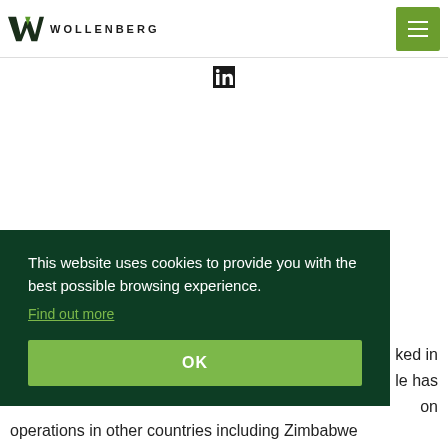WOLLENBERG
[Figure (logo): LinkedIn icon]
This website uses cookies to provide you with the best possible browsing experience. Find out more
OK
ked in le has on operations in other countries including Zimbabwe